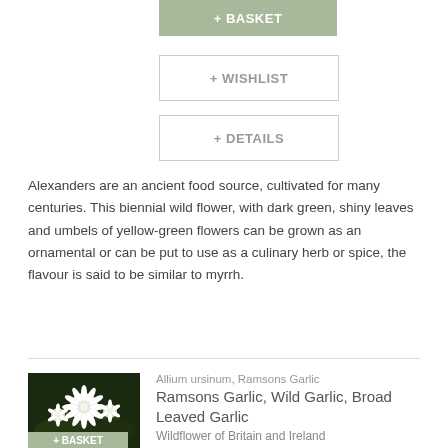+ BASKET
+ WISHLIST
+ DETAILS
Alexanders are an ancient food source, cultivated for many centuries. This biennial wild flower, with dark green, shiny leaves and umbels of yellow-green flowers can be grown as an ornamental or can be put to use as a culinary herb or spice, the flavour is said to be similar to myrrh.
[Figure (photo): Photo of Ramsons Garlic white flowers (Allium ursinum) with dark green background]
Allium ursinum, Ramsons Garlic
Ramsons Garlic, Wild Garlic, Broad Leaved Garlic
Wildflower of Britain and Ireland
€2.45